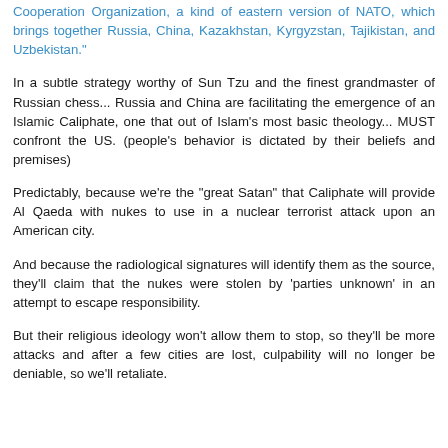Cooperation Organization, a kind of eastern version of NATO, which brings together Russia, China, Kazakhstan, Kyrgyzstan, Tajikistan, and Uzbekistan."
In a subtle strategy worthy of Sun Tzu and the finest grandmaster of Russian chess... Russia and China are facilitating the emergence of an Islamic Caliphate, one that out of Islam's most basic theology... MUST confront the US. (people's behavior is dictated by their beliefs and premises)
Predictably, because we're the "great Satan" that Caliphate will provide Al Qaeda with nukes to use in a nuclear terrorist attack upon an American city.
And because the radiological signatures will identify them as the source, they'll claim that the nukes were stolen by 'parties unknown' in an attempt to escape responsibility.
But their religious ideology won't allow them to stop, so they'll be more attacks and after a few cities are lost, culpability will no longer be deniable, so we'll retaliate.